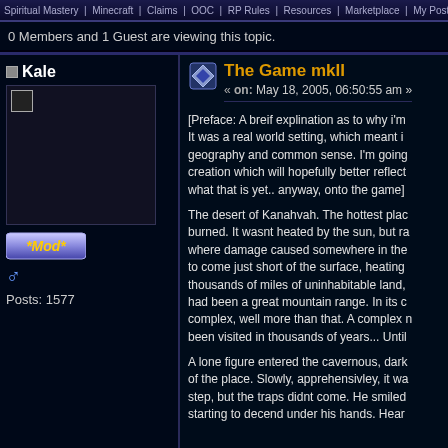Spiritual Mastery Minecraft Claims OOC RP Rules Resources Marketplace My Posts
0 Members and 1 Guest are viewing this topic.
Kale
Posts: 1577
The Game mkII
« on: May 18, 2005, 06:50:55 am »
[Preface: A breif explination as to why i'm It was a real world setting, which meant i geography and common sense. I'm going creation which will hopefully better reflect what that is yet.. anyway, onto the game]
The desert of Kanahvah. The hottest plac burned. It wasnt heated by the sun, but ra where damage caused somewhere in the to come just short of the surface, heating thousands of miles of uninhabitable land, had been a great mountain range. In its c complex, well more than that. A complex n been visited in thousands of years... Until
A lone figure entered the cavernous, dark of the place. Slowly, apprehensivley, it wa step, but the traps didnt come. He smiled starting to decend under his hands. Hear